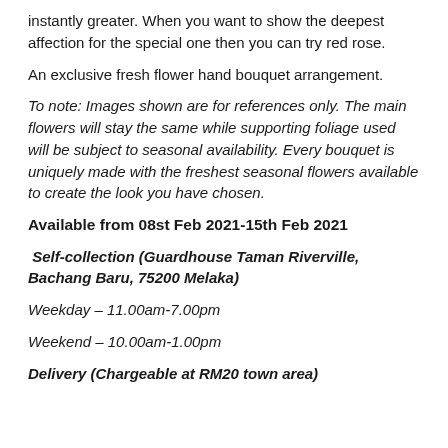instantly greater. When you want to show the deepest affection for the special one then you can try red rose.
An exclusive fresh flower hand bouquet arrangement.
To note: Images shown are for references only. The main flowers will stay the same while supporting foliage used will be subject to seasonal availability. Every bouquet is uniquely made with the freshest seasonal flowers available to create the look you have chosen.
Available from 08st Feb 2021-15th Feb 2021
Self-collection (Guardhouse Taman Riverville, Bachang Baru, 75200 Melaka)
Weekday – 11.00am-7.00pm
Weekend – 10.00am-1.00pm
Delivery (Chargeable at RM20 town area)